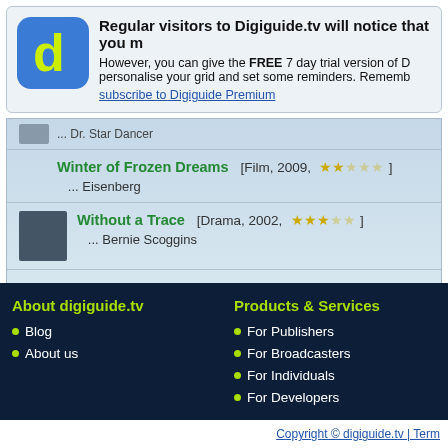Regular visitors to Digiguide.tv will notice that you m
However, you can give the FREE 7 day trial version of D personalise your grid and set some reminders. Rememb subscribe to Digiguide Premium
Winter of Frozen Dreams [Film, 2009, ★★☆☆☆] ... Eisenberg
Without a Trace [Drama, 2002, ★★★☆☆] ... Bernie Scoggins
About digiguide.tv
Blog
About us
Products & Services
For Publishers
For Broadcasters
For Individuals
For Developers
Copyright © digiguide.tv | Term